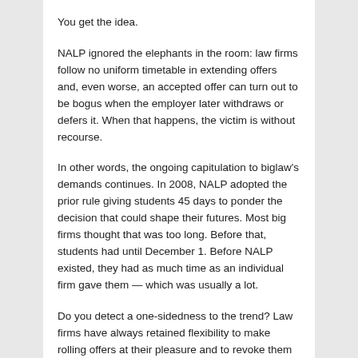You get the idea.
NALP ignored the elephants in the room: law firms follow no uniform timetable in extending offers and, even worse, an accepted offer can turn out to be bogus when the employer later withdraws or defers it. When that happens, the victim is without recourse.
In other words, the ongoing capitulation to biglaw's demands continues. In 2008, NALP adopted the prior rule giving students 45 days to ponder the decision that could shape their futures. Most big firms thought that was too long. Before that, students had until December 1. Before NALP existed, they had as much time as an individual firm gave them — which was usually a lot.
Do you detect a one-sidedness to the trend? Law firms have always retained flexibility to make rolling offers at their pleasure and to revoke them at will. Who's looking out for the students?